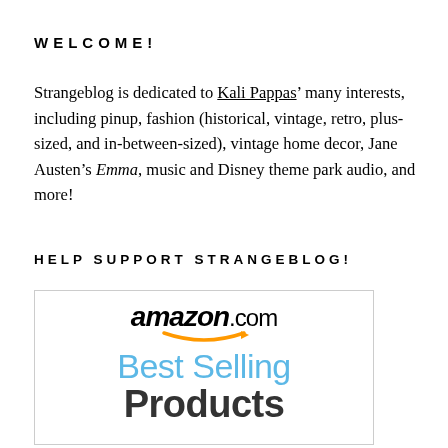WELCOME!
Strangeblog is dedicated to Kali Pappas' many interests, including pinup, fashion (historical, vintage, retro, plus-sized, and in-between-sized), vintage home decor, Jane Austen's Emma, music and Disney theme park audio, and more!
HELP SUPPORT STRANGEBLOG!
[Figure (logo): Amazon.com Best Selling Products banner/advertisement image showing the Amazon logo with smile arrow, and text 'Best Selling Products' in blue and dark grey.]